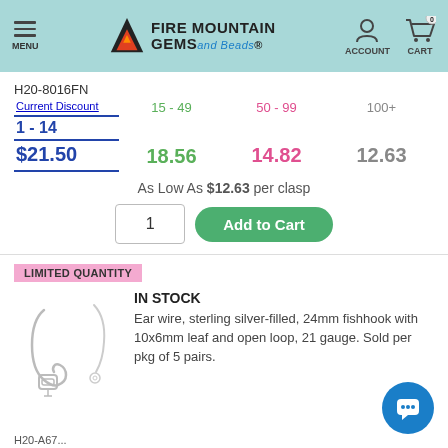MENU | FIRE MOUNTAIN GEMS and Beads | ACCOUNT | CART 0
H20-8016FN
| Current Discount | 15 - 49 | 50 - 99 | 100+ |
| --- | --- | --- | --- |
| 1 - 14 | 15 - 49 | 50 - 99 | 100+ |
| $21.50 | 18.56 | 14.82 | 12.63 |
As Low As $12.63 per clasp
LIMITED QUANTITY
IN STOCK
[Figure (photo): Two sterling silver-filled fishhook ear wires with leaf design]
Ear wire, sterling silver-filled, 24mm fishhook with 10x6mm leaf and open loop, 21 gauge. Sold per pkg of 5 pairs.
H20-A67...